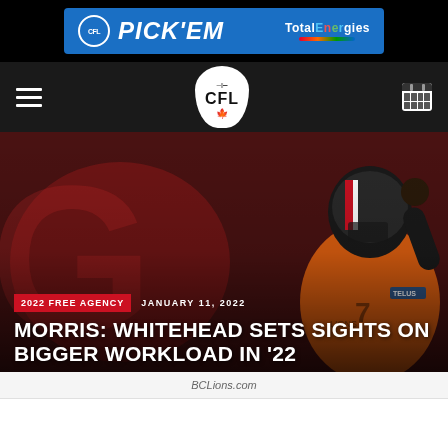[Figure (screenshot): CFL PICK'EM advertisement banner with TotalEnergies logo]
[Figure (logo): CFL (Canadian Football League) navigation bar with hamburger menu and calendar icon]
[Figure (photo): BC Lions player in orange uniform with helmet raised fist, with blurred background showing large letters]
2022 FREE AGENCY    JANUARY 11, 2022
MORRIS: WHITEHEAD SETS SIGHTS ON BIGGER WORKLOAD IN '22
BCLions.com